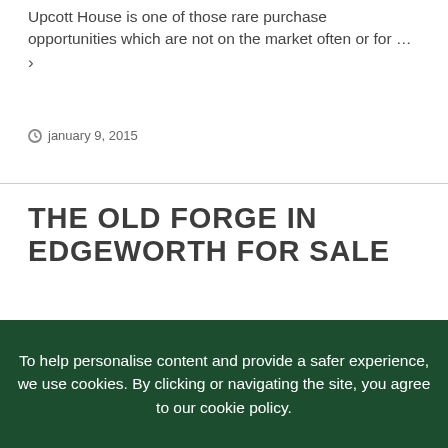Upcott House is one of those rare purchase opportunities which are not on the market often or for … ›
january 9, 2015
THE OLD FORGE IN EDGEWORTH FOR SALE
This property oozes character from it's
To help personalise content and provide a safer experience, we use cookies. By clicking or navigating the site, you agree to our cookie policy.